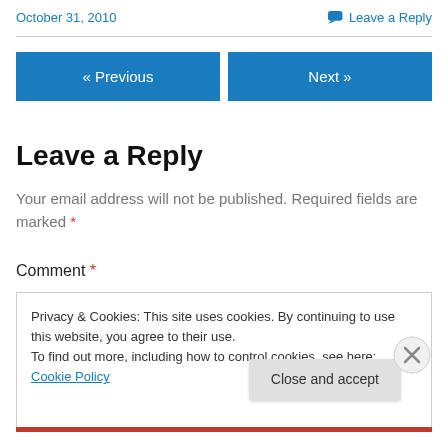October 31, 2010
Leave a Reply
« Previous
Next »
Leave a Reply
Your email address will not be published. Required fields are marked *
Comment *
Privacy & Cookies: This site uses cookies. By continuing to use this website, you agree to their use.
To find out more, including how to control cookies, see here: Cookie Policy
Close and accept